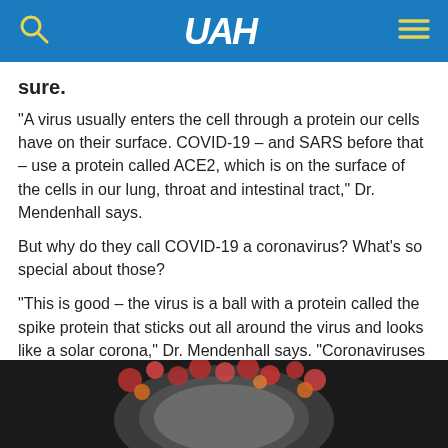UAH logo header with search and menu icons
sure.
"A virus usually enters the cell through a protein our cells have on their surface. COVID-19 – and SARS before that – use a protein called ACE2, which is on the surface of the cells in our lung, throat and intestinal tract," Dr. Mendenhall says.
But why do they call COVID-19 a coronavirus? What's so special about those?
"This is good – the virus is a ball with a protein called the spike protein that sticks out all around the virus and looks like a solar corona," Dr. Mendenhall says. "Coronaviruses only infect mammals and birds."
[Figure (photo): Close-up image of a coronavirus particle model, showing colorful spike proteins protruding from a spherical surface against a dark background.]